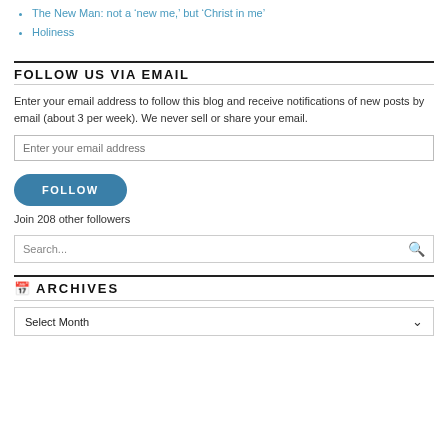The New Man: not a 'new me,' but 'Christ in me'
Holiness
FOLLOW US VIA EMAIL
Enter your email address to follow this blog and receive notifications of new posts by email (about 3 per week). We never sell or share your email.
Enter your email address
FOLLOW
Join 208 other followers
Search...
ARCHIVES
Select Month